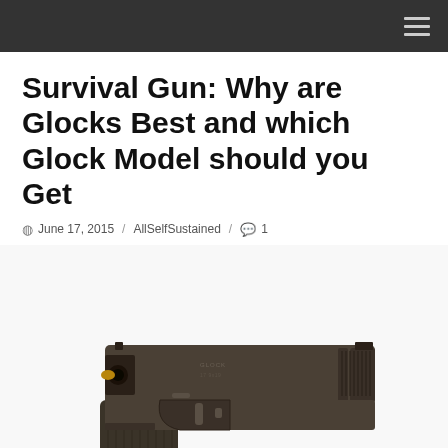Survival Gun: Why are Glocks Best and which Glock Model should you Get
June 17, 2015 / AllSelfSustained / 1
[Figure (photo): A Glock pistol photographed from the left side profile against a white background, showing the dark polymer frame, slide, trigger guard, and a brass cartridge visible at the muzzle end.]